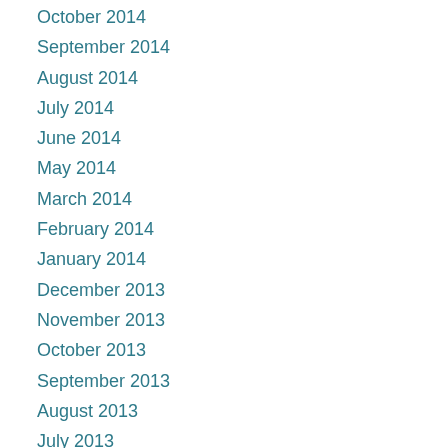October 2014
September 2014
August 2014
July 2014
June 2014
May 2014
March 2014
February 2014
January 2014
December 2013
November 2013
October 2013
September 2013
August 2013
July 2013
June 2013